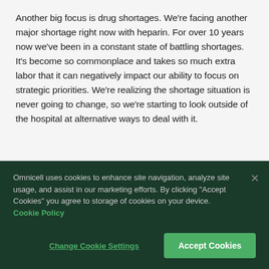Another big focus is drug shortages. We're facing another major shortage right now with heparin. For over 10 years now we've been in a constant state of battling shortages. It's become so commonplace and takes so much extra labor that it can negatively impact our ability to focus on strategic priorities. We're realizing the shortage situation is never going to change, so we're starting to look outside of the hospital at alternative ways to deal with it.
Omnicell uses cookies to enhance site navigation, analyze site usage, and assist in our marketing efforts. By clicking "Accept Cookies" you agree to storage of cookies on your device. Cookie Policy